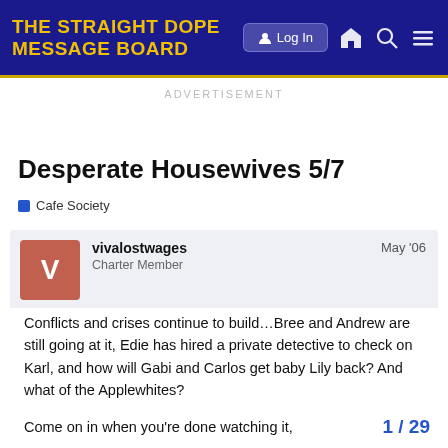THE STRAIGHT DOPE MESSAGE BOARD
ADVERTISEMENT
Desperate Housewives 5/7
Cafe Society
vivalostwages
Charter Member
May '06
Conflicts and crises continue to build…Bree and Andrew are still going at it, Edie has hired a private detective to check on Karl, and how will Gabi and Carlos get baby Lily back? And what of the Applewhites?

Come on in when you're done watching it,
1 / 29